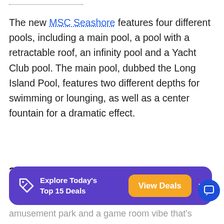The new MSC Seashore features four different pools, including a main pool, a pool with a retractable roof, an infinity pool and a Yacht Club pool. The main pool, dubbed the Long Island Pool, features two different depths for swimming or lounging, as well as a center fountain for a dramatic effect.
2. 4D Cinema and Formula One Simulator
amusement park and a game room vibe that's